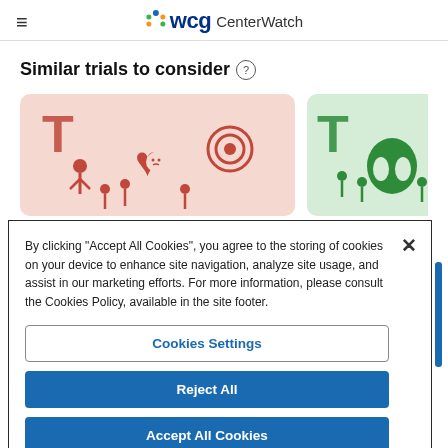WCG CenterWatch
Similar trials to consider
[Figure (illustration): Two trial cards side by side: left card with pink background showing medical trial icons (people, heart, target), right card with green background showing dental/medical trial icons]
By clicking "Accept All Cookies", you agree to the storing of cookies on your device to enhance site navigation, analyze site usage, and assist in our marketing efforts. For more information, please consult the Cookies Policy, available in the site footer.
Cookies Settings
Reject All
Accept All Cookies